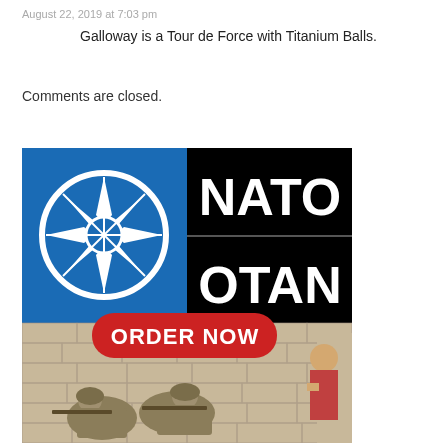August 22, 2019 at 7:03 pm
Galloway is a Tour de Force with Titanium Balls.
Comments are closed.
[Figure (illustration): NATO/OTAN promotional parody image. Top half: blue background with white NATO compass rose logo on left, black background with white text 'NATO' on top right and 'OTAN' on bottom right. Center: red rounded button with white bold text 'ORDER NOW'. Bottom half: photograph of two soldiers in desert combat gear crouching against a stone wall with rifles, and a child peeking around a corner on the right side.]